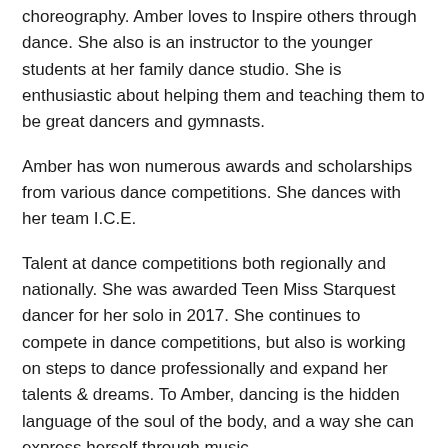choreography. Amber loves to Inspire others through dance. She also is an instructor to the younger students at her family dance studio. She is enthusiastic about helping them and teaching them to be great dancers and gymnasts.
Amber has won numerous awards and scholarships from various dance competitions. She dances with her team I.C.E.
Talent at dance competitions both regionally and nationally. She was awarded Teen Miss Starquest dancer for her solo in 2017. She continues to compete in dance competitions, but also is working on steps to dance professionally and expand her talents & dreams. To Amber, dancing is the hidden language of the soul of the body, and a way she can express herself through music.
She is so excited to be on Celebration of Music and is very thankful to be given this great opportunity to dance on the show. If you enjoy Amber's performance and would like to see more of